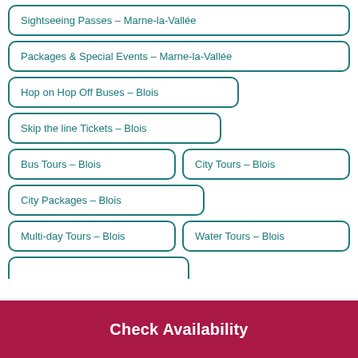Sightseeing Passes - Marne-la-Vallée
Packages & Special Events - Marne-la-Vallée
Hop on Hop Off Buses - Blois
Skip the line Tickets - Blois
Bus Tours - Blois
City Tours - Blois
City Packages - Blois
Multi-day Tours - Blois
Water Tours - Blois
Check Availability